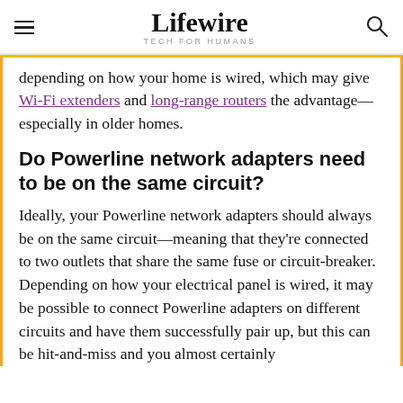Lifewire — TECH FOR HUMANS
depending on how your home is wired, which may give Wi-Fi extenders and long-range routers the advantage—especially in older homes.
Do Powerline network adapters need to be on the same circuit?
Ideally, your Powerline network adapters should always be on the same circuit—meaning that they're connected to two outlets that share the same fuse or circuit-breaker. Depending on how your electrical panel is wired, it may be possible to connect Powerline adapters on different circuits and have them successfully pair up, but this can be hit-and-miss and you almost certainly